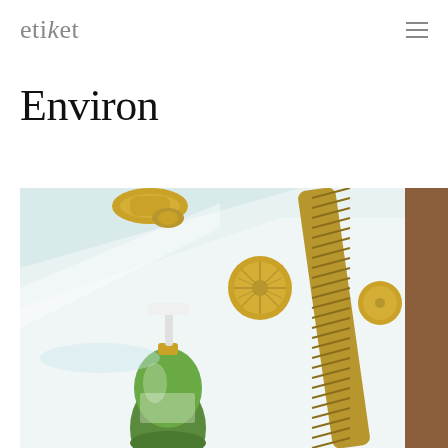etiket
Environ
[Figure (photo): A green pump-bottle skincare product (Environ brand) placed on the edge of a bathtub with gold/brass fixtures including a shower hose and faucet fittings, shot from above at an angle. The bottle is green with a white pump and gold collar.]